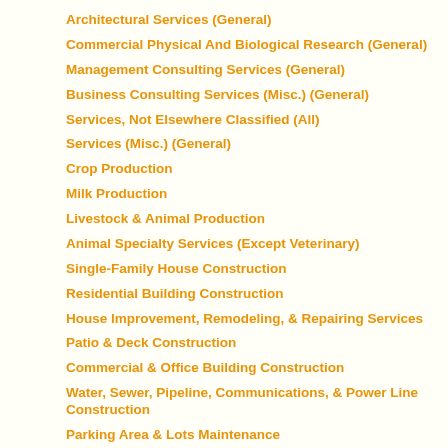Architectural Services (General)
Commercial Physical And Biological Research (General)
Management Consulting Services (General)
Business Consulting Services (Misc.) (General)
Services, Not Elsewhere Classified (All)
Services (Misc.) (General)
Crop Production
Milk Production
Livestock & Animal Production
Animal Specialty Services (Except Veterinary)
Single-Family House Construction
Residential Building Construction
House Improvement, Remodeling, & Repairing Services
Patio & Deck Construction
Commercial & Office Building Construction
Water, Sewer, Pipeline, Communications, & Power Line Construction
Parking Area & Lots Maintenance